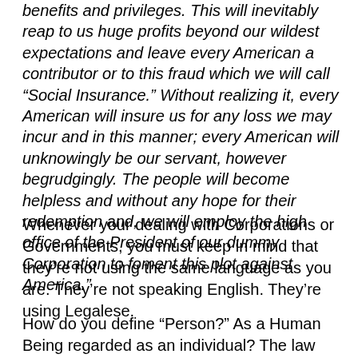benefits and privileges.  This will inevitably reap to us huge profits beyond our wildest expectations and leave every American a contributor or to this fraud which we will call “Social Insurance.”  Without realizing it, every American will insure us for any loss we may incur and in this manner; every American will unknowingly be our servant, however begrudgingly.  The people will become helpless and without any hope for their redemption and, we will employ the high office of the President of our dummy Corporation to foment this plot against America.”
Whenever your dealing with Corporations or Governments, you must keep in mind that they’re not using the same language as you are. They’re not speaking English. They’re using Legalese.
How do you define “Person?” As a Human Being regarded as an individual? The law definition… Person…